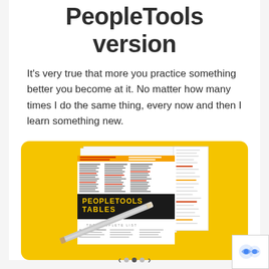PeopleTools version
It's very true that more you practice something better you become at it. No matter how many times I do the same thing, every now and then I learn something new.
[Figure (photo): A book titled 'PEOPLETOOLS TABLES - THE COMPLETE LIST' with a yellow background, showing a reference guide with columns of data and a pencil in the foreground]